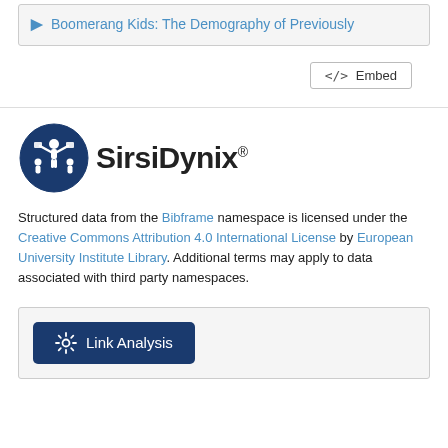Boomerang Kids: The Demography of Previously
</> Embed
[Figure (logo): SirsiDynix logo with circular blue emblem showing figures and books, followed by SirsiDynix® text]
Structured data from the Bibframe namespace is licensed under the Creative Commons Attribution 4.0 International License by European University Institute Library. Additional terms may apply to data associated with third party namespaces.
Link Analysis